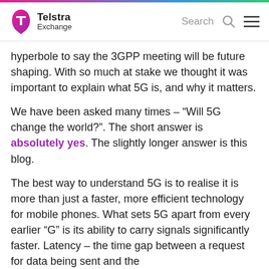Telstra Exchange
hyperbole to say the 3GPP meeting will be future shaping. With so much at stake we thought it was important to explain what 5G is, and why it matters.
We have been asked many times – “Will 5G change the world?”. The short answer is absolutely yes. The slightly longer answer is this blog.
The best way to understand 5G is to realise it is more than just a faster, more efficient technology for mobile phones. What sets 5G apart from every earlier “G” is its ability to carry signals significantly faster. Latency – the time gap between a request for data being sent and the